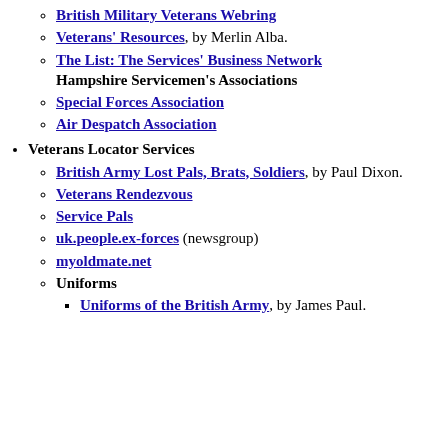British Military Veterans Webring
Veterans' Resources, by Merlin Alba.
The List: The Services' Business Network Hampshire Servicemen's Associations
Special Forces Association
Air Despatch Association
Veterans Locator Services
British Army Lost Pals, Brats, Soldiers, by Paul Dixon.
Veterans Rendezvous
Service Pals
uk.people.ex-forces (newsgroup)
myoldmate.net
Uniforms
Uniforms of the British Army, by James Paul.